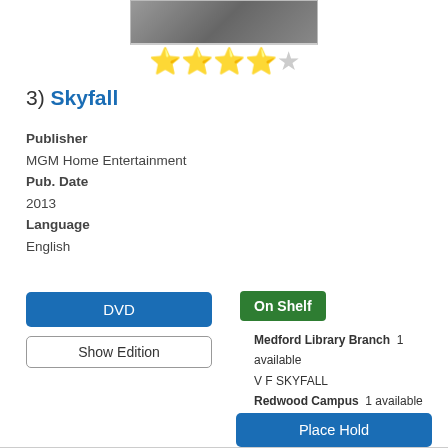[Figure (photo): Partial movie cover image for Skyfall at top of page]
[Figure (other): 4 out of 5 stars rating displayed as star icons]
3) Skyfall
Publisher
MGM Home Entertainment
Pub. Date
2013
Language
English
DVD
Show Edition
On Shelf
Medford Library Branch  1 available
V F SKYFALL
Redwood Campus  1 available
DVD Skyfall 2013
Place Hold
Description
Read Description
More Info   Add to list